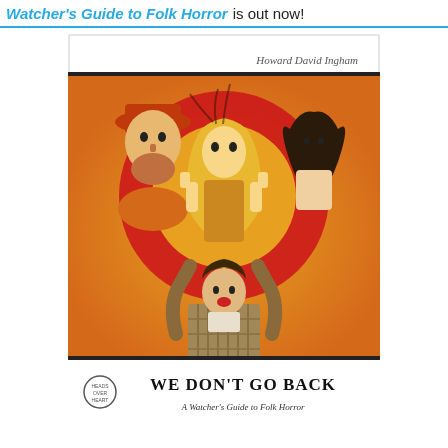Watcher's Guide to Folk Horror is out now!
[Figure (illustration): Book cover of 'We Don't Go Back: A Watcher's Guide to Folk Horror' by Howard David Ingham. The cover features illustrated figures on an orange and red background: three figures in the upper half (a bearded man in a hat on the left, a woman with long blonde hair in the center, and a woman with dark hair on the right), and a man in a plaid jacket raising his arms at the bottom center. The bottom white section shows the book title 'WE DON'T GO BACK' in bold serif type and subtitle 'A Watcher's Guide to Folk Horror' in italic, with a small publisher logo on the left and the author's name 'Howard David Ingham' at the top right.]